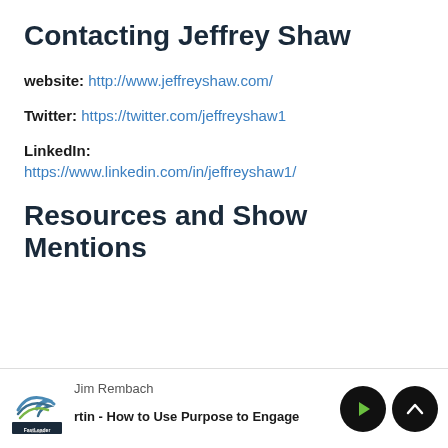Contacting Jeffrey Shaw
website: http://www.jeffreyshaw.com/
Twitter: https://twitter.com/jeffreyshaw1
LinkedIn:
https://www.linkedin.com/in/jeffreyshaw1/
Resources and Show Mentions
Jim Rembach | rtin - How to Use Purpose to Engage